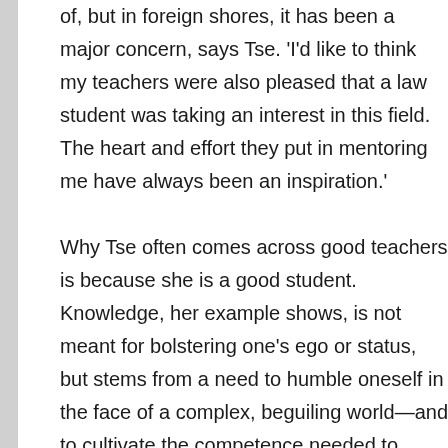of, but in foreign shores, it has been a major concern, says Tse. 'I'd like to think my teachers were also pleased that a law student was taking an interest in this field. The heart and effort they put in mentoring me have always been an inspiration.' Why Tse often comes across good teachers is because she is a good student. Knowledge, her example shows, is not meant for bolstering one's ego or status, but stems from a need to humble oneself in the face of a complex, beguiling world—and to cultivate the competence needed to safeguard people and things one cares. In 2014, amidst her busy traineeship at an international law firm in Hong Kong, she stayed in touch with art lawyers in the UK whom she met